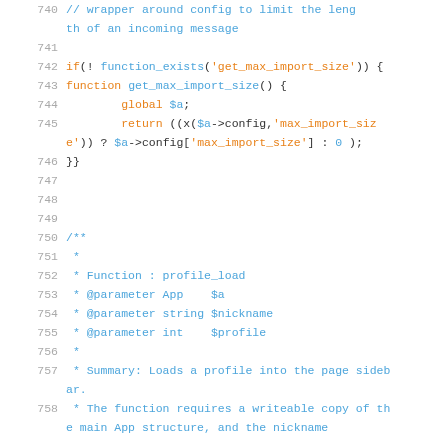// wrapper around config to limit the length of an incoming message (line 740 area)
741 (blank)
742   if(! function_exists('get_max_import_size')) {
743   function get_max_import_size() {
744         global $a;
745         return ((x($a->config,'max_import_size')) ? $a->config['max_import_size'] : 0 );
746   }}
747 (blank)
748 (blank)
749 (blank)
750   /**
751    *
752    * Function : profile_load
753    * @parameter App    $a
754    * @parameter string $nickname
755    * @parameter int    $profile
756    *
757    * Summary: Loads a profile into the page sidebar.
758    * The function requires a writeable copy of the main App structure, and the nickname